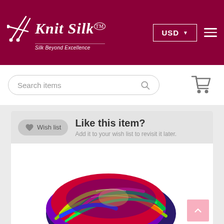Knit Silk™ — Silk Beyond Excellence
Search items
[Figure (screenshot): Shopping cart icon in the top right of the search bar area]
Like this item?
Add it to your wish list to revisit it later.
[Figure (photo): Colorful multicolored sari silk yarn ball showing vibrant colors including green, yellow, orange, red, blue, and purple]
Wish list